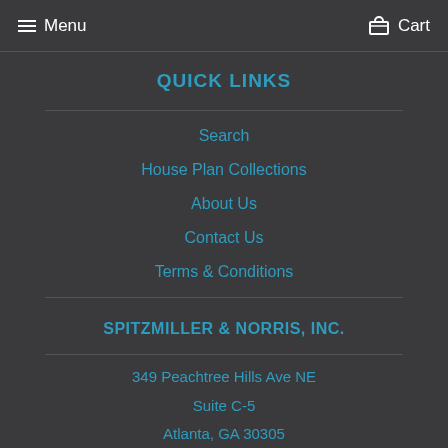Menu  Cart
QUICK LINKS
Search
House Plan Collections
About Us
Contact Us
Terms & Conditions
SPITZMILLER & NORRIS, INC.
349 Peachtree Hills Ave NE
Suite C-5
Atlanta, GA 30305
404-812-0224
CUSTOM DESIGN SERVICES